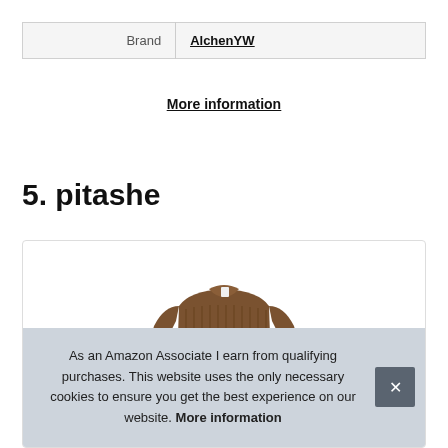| Brand | AlchenYW |
| --- | --- |
More information
5. pitashe
[Figure (photo): Product photo of a brown ribbed knit sweater/top on a white background inside a product card]
As an Amazon Associate I earn from qualifying purchases. This website uses the only necessary cookies to ensure you get the best experience on our website. More information